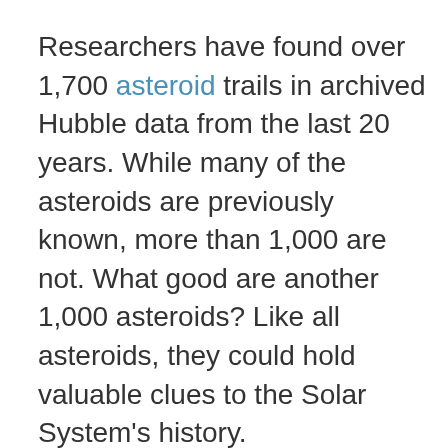Researchers have found over 1,700 asteroid trails in archived Hubble data from the last 20 years. While many of the asteroids are previously known, more than 1,000 are not. What good are another 1,000 asteroids? Like all asteroids, they could hold valuable clues to the Solar System's history.